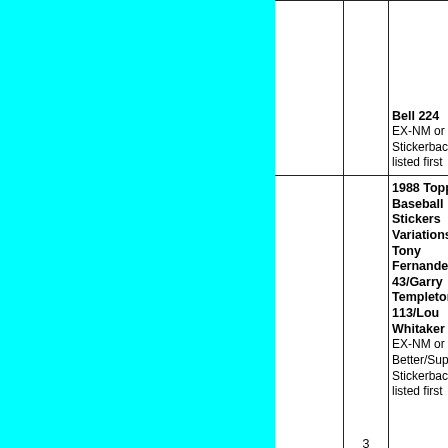| [image] | qty | description |
| --- | --- | --- |
|  |  | Bell 224
EX-NM or Better/Super Stickerback listed first |
|  | 3 | 1988 Topps Baseball Stickers Variations Tony Fernandez 43/Garry Templeton 113/Lou Whitaker 2
EX-NM or Better/Super Stickerback listed first |
|  | 3 | 1988 Topps Baseball Stickers Variations Tony Fernandez 43/Glenn D 35
EX-NM or |